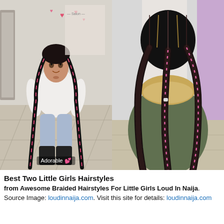[Figure (photo): Two side-by-side photos showing braided hairstyles for little girls. Left photo: a young girl facing forward in a salon, wearing a white top and blue pants, with two long black braids with pink accents and heart emojis, caption 'Adorable 💕'. Right photo: back view of a person showing three cornrow braids with pink ribbon woven through, wearing a green jacket.]
Best Two Little Girls Hairstyles
from Awesome Braided Hairstyles For Little Girls Loud In Naija.
Source Image: loudinnaija.com. Visit this site for details: loudinnaija.com